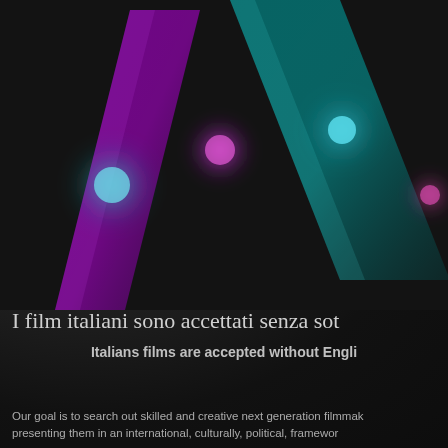Ho
[Figure (illustration): Dark background with decorative graphic elements: two diagonal parallelogram/ribbon shapes (one purple/magenta, one teal/cyan) with glowing orb light effects in teal and magenta/pink colors scattered around them, creating a stylized abstract design on a dark textured background.]
I film italiani sono accettati senza sot
Italians films are accepted without Engli
Our goal is to search out skilled and creative next generation filmmak presenting them in an international, culturally, political, framewor